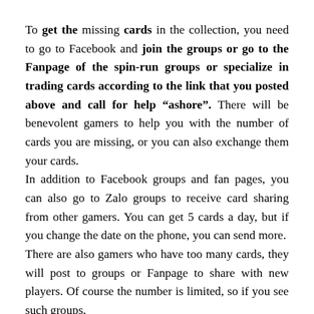To get the missing cards in the collection, you need to go to Facebook and join the groups or go to the Fanpage of the spin-run groups or specialize in trading cards according to the link that you posted above and call for help "ashore". There will be benevolent gamers to help you with the number of cards you are missing, or you can also exchange them your cards.
In addition to Facebook groups and fan pages, you can also go to Zalo groups to receive card sharing from other gamers. You can get 5 cards a day, but if you change the date on the phone, you can send more.
There are also gamers who have too many cards, they will post to groups or Fanpage to share with new players. Of course the number is limited, so if you see such groups,